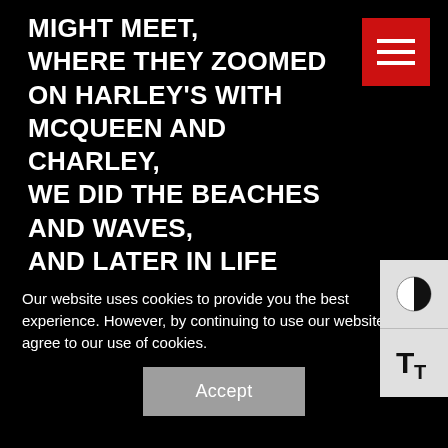MIGHT MEET,
WHERE THEY ZOOMED
ON HARLEY'S WITH
MCQUEEN AND CHARLEY,
WE DID THE BEACHES
AND WAVES,
AND LATER IN LIFE
FOUND THIS LOVELY
CONNECTION,
THE TIGERTAIL BRENTWOOD
AND FILM PERFECTION,
[Figure (other): Red hamburger menu button icon in top right corner]
[Figure (other): Accessibility panel with contrast and text size icons on right edge]
Our website uses cookies to provide you the best experience. However, by continuing to use our website, you agree to our use of cookies.
Accept